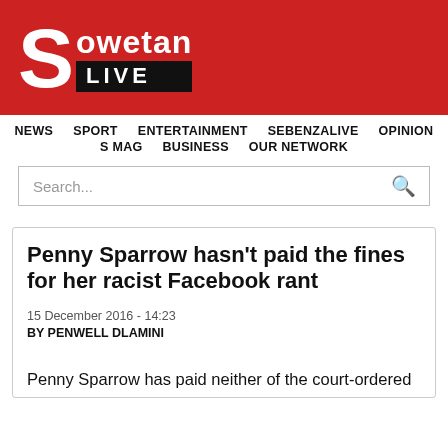[Figure (logo): Sowetan LIVE logo on red banner background]
NEWS  SPORT  ENTERTAINMENT  SEBENZALIVE  OPINION  S MAG  BUSINESS  OUR NETWORK
Search...
Penny Sparrow hasn't paid the fines for her racist Facebook rant
15 December 2016 - 14:23
BY PENWELL DLAMINI
Penny Sparrow has paid neither of the court-ordered